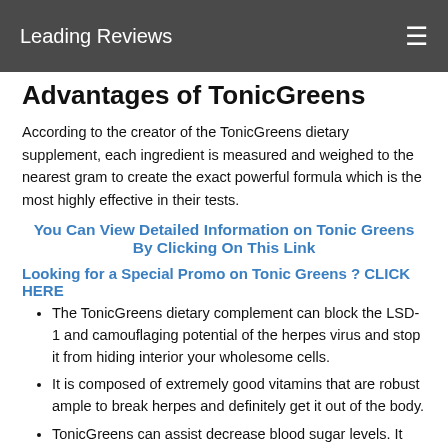Leading Reviews
Advantages of TonicGreens
According to the creator of the TonicGreens dietary supplement, each ingredient is measured and weighed to the nearest gram to create the exact powerful formula which is the most highly effective in their tests.
You Can View Detailed Information on Tonic Greens By Clicking On This Link
Looking for a Special Promo on Tonic Greens ? CLICK HERE
The TonicGreens dietary complement can block the LSD-1 and camouflaging potential of the herpes virus and stop it from hiding interior your wholesome cells.
It is composed of extremely good vitamins that are robust ample to break herpes and definitely get it out of the body.
TonicGreens can assist decrease blood sugar levels. It additionally carries vitamins that can stop coronary heart diseases.
The natural herpes supplement is prosperous in